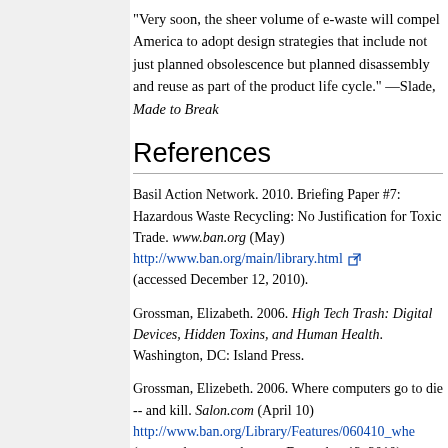“Very soon, the sheer volume of e-waste will compel America to adopt design strategies that include not just planned obsolescence but planned disassembly and reuse as part of the product life cycle.” —Slade, Made to Break
References
Basil Action Network. 2010. Briefing Paper #7: Hazardous Waste Recycling: No Justification for Toxic Trade. www.ban.org (May) http://www.ban.org/main/library.html (accessed December 12, 2010).
Grossman, Elizabeth. 2006. High Tech Trash: Digital Devices, Hidden Toxins, and Human Health. Washington, DC: Island Press.
Grossman, Elizebeth. 2006. Where computers go to die -- and kill. Salon.com (April 10) http://www.ban.org/Library/Features/060410_whe (accessed on www.ban.org December 12, 2010).
Harden, Blaine. 2001. The Dirt in the New Machine. The New York Times. (August 15)